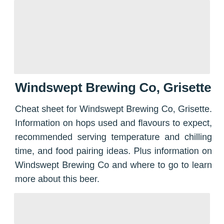[Figure (other): Gray rectangular placeholder image at the top of the page]
Windswept Brewing Co, Grisette
Cheat sheet for Windswept Brewing Co, Grisette. Information on hops used and flavours to expect, recommended serving temperature and chilling time, and food pairing ideas. Plus information on Windswept Brewing Co and where to go to learn more about this beer.
[Figure (other): Gray rectangular placeholder image at the bottom of the page]